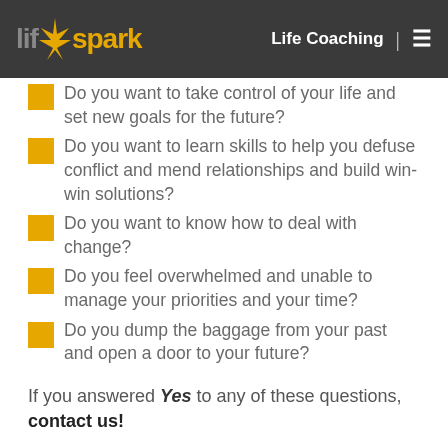Life Coaching
Do you want to take control of your life and set new goals for the future?
Do you want to learn skills to help you defuse conflict and mend relationships and build win-win solutions?
Do you want to know how to deal with change?
Do you feel overwhelmed and unable to manage your priorities and your time?
Do you dump the baggage from your past and open a door to your future?
If you answered Yes to any of these questions, contact us!
Life-Spark ignites constructive changes in your